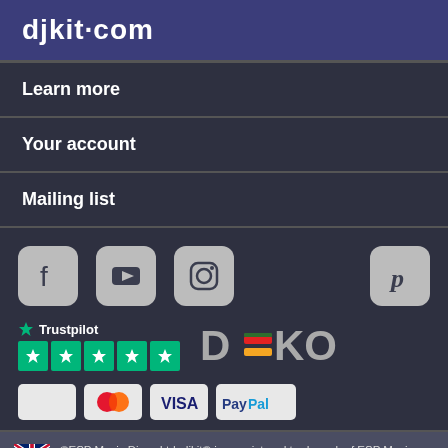djkit.com
Learn more
Your account
Mailing list
[Figure (logo): Social media icons: Facebook, YouTube, Instagram, Pinterest; Trustpilot 5-star rating; DEKO logo; Payment icons: blank, Mastercard, Visa, PayPal]
©ESP Music Disco Ltd. djkit® is a registered trademark of ESP Music Disco Ltd.